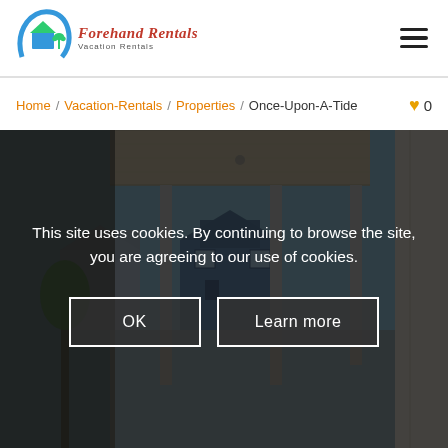[Figure (logo): Forehand Rentals Vacation Rentals logo with circular icon showing a house and wave]
Home / Vacation-Rentals / Properties / Once-Upon-A-Tide  ♥ 0
[Figure (photo): Vacation rental property photo showing a covered porch/patio area with columns, overlooking a neighborhood with blue sky]
This site uses cookies. By continuing to browse the site, you are agreeing to our use of cookies.
OK
Learn more